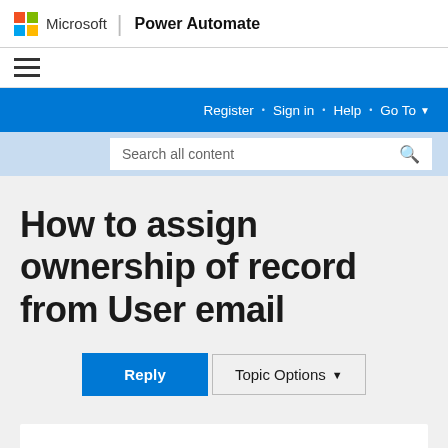Microsoft | Power Automate
[Figure (logo): Microsoft colorful four-square logo next to Microsoft wordmark and Power Automate product name]
[Figure (infographic): Hamburger menu icon (three horizontal lines)]
Register · Sign in · Help · Go To ▼
Search all content
How to assign ownership of record from User email
Reply
Topic Options ▼